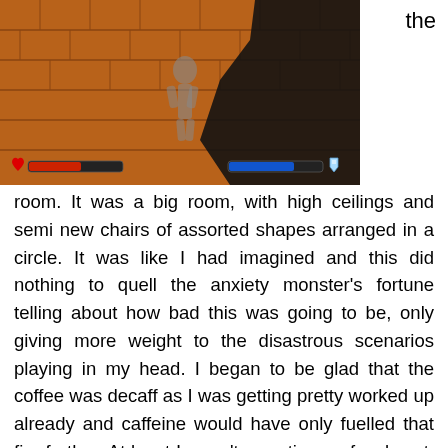[Figure (screenshot): Video game screenshot showing a brick-floor dungeon/arena environment with a character silhouette, health bar (red, heart icon) on the bottom left, and blue bar with shield icon on the bottom right. A dark shadow shape appears on the right side of the image.]
the room. It was a big room, with high ceilings and semi new chairs of assorted shapes arranged in a circle. It was like I had imagined and this did nothing to quell the anxiety monster’s fortune telling about how bad this was going to be, only giving more weight to the disastrous scenarios playing in my head. I began to be glad that the coffee was decaff as I was getting pretty worked up already and caffeine would have only fuelled that fire further. At least I wasn’t sweating profusely yet. Why did I have to think about that? I can feel myself starting to perspire now. The door opened. A perfectly normal looking person walked in, said “Hi” and sat down. Hmmm, maybe another staff member? As the room gradually filled up, I realised that everyone looked pretty